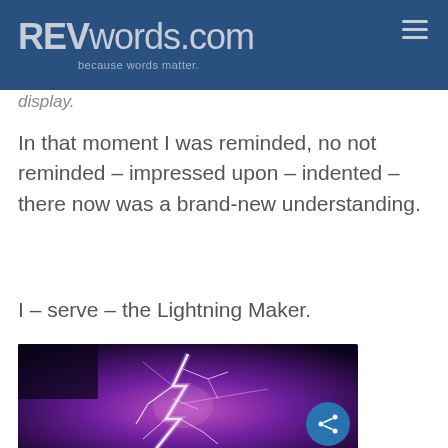REVwords.com — because words matter.
display.
In that moment I was reminded, no not reminded – impressed upon – indented – there now was a brand-new understanding.
I – serve – the Lightning Maker.
[Figure (photo): A dramatic lightning strike photograph with bright purple/pink lightning bolts against a dark stormy sky with purple and magenta clouds.]